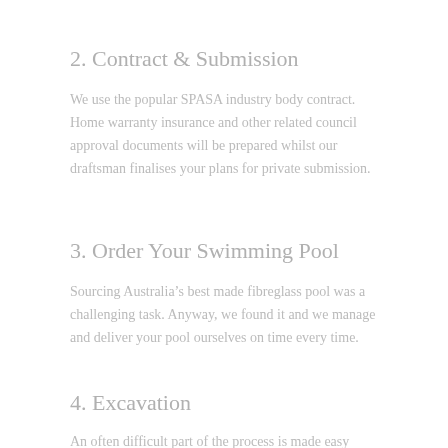2. Contract & Submission
We use the popular SPASA industry body contract. Home warranty insurance and other related council approval documents will be prepared whilst our draftsman finalises your plans for private submission.
3. Order Your Swimming Pool
Sourcing Australia's best made fibreglass pool was a challenging task. Anyway, we found it and we manage and deliver your pool ourselves on time every time.
4. Excavation
An often difficult part of the process is made easy